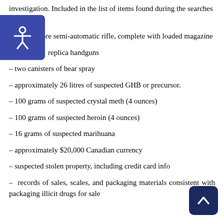investigation. Included in the list of items found during the searches were:
– a .22 calibre semi-automatic rifle, complete with loaded magazine
– replica handguns
– two canisters of bear spray
– approximately 26 litres of suspected GHB or precursor.
– 100 grams of suspected crystal meth (4 ounces)
– 100 grams of suspected heroin (4 ounces)
– 16 grams of suspected marihuana
– approximately $20,000 Canadian currency
– suspected stolen property, including credit card info
– records of sales, scales, and packaging materials consistent with packaging illicit drugs for sale